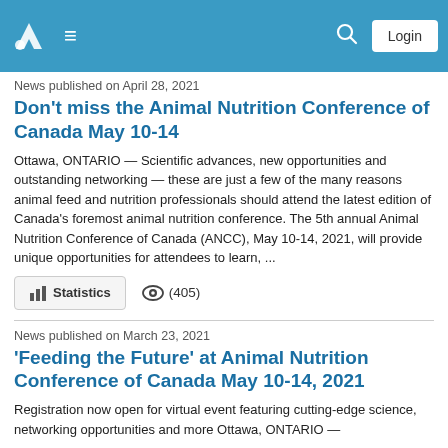Navigation header with logo, menu, search, and Login button
News published on April 28, 2021
Don't miss the Animal Nutrition Conference of Canada May 10-14
Ottawa, ONTARIO — Scientific advances, new opportunities and outstanding networking — these are just a few of the many reasons animal feed and nutrition professionals should attend the latest edition of Canada's foremost animal nutrition conference. The 5th annual Animal Nutrition Conference of Canada (ANCC), May 10-14, 2021, will provide unique opportunities for attendees to learn, ...
Statistics (405)
News published on March 23, 2021
'Feeding the Future' at Animal Nutrition Conference of Canada May 10-14, 2021
Registration now open for virtual event featuring cutting-edge science, networking opportunities and more Ottawa, ONTARIO —